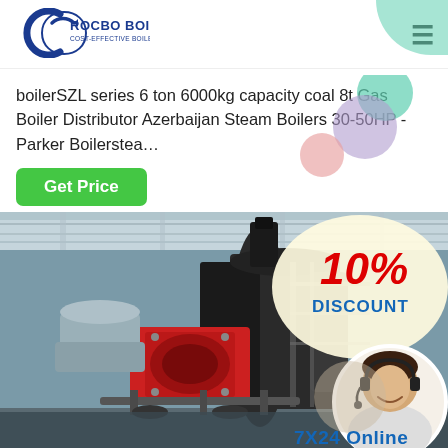[Figure (logo): Rocbo Boiler logo — circular arrow/C shape in blue with company name 'ROCBO BOILER' in dark blue bold, tagline 'COST-EFFECTIVE BOILER SUPPLIER' below]
boilerSZL series 6 ton 6000kg capacity coal 8t Gas Boiler Distributor Azerbaijan Steam Boilers 30-50HP - Parker Boilerstea…
Get Price
[Figure (photo): Industrial gas/coal boiler in a factory setting. Large black cylindrical boiler with red burner assembly at front, scaffolding and pipes visible. Overlay shows '10% DISCOUNT' badge in red and blue, a smiling female customer service agent in a headset in a circular frame, and '7X24 Online' text at bottom right.]